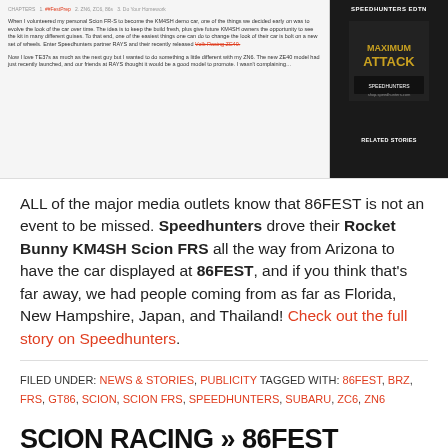[Figure (screenshot): Screenshot of a Speedhunters article page showing two columns: left with article text about KM4SH demo car and Volk Racing ZE40 wheels, right showing a dark sidebar with 'SPEEDHUNTERS EDTN' book cover and 'RELATED STORIES' label.]
ALL of the major media outlets know that 86FEST is not an event to be missed. Speedhunters drove their Rocket Bunny KM4SH Scion FRS all the way from Arizona to have the car displayed at 86FEST, and if you think that's far away, we had people coming from as far as Florida, New Hampshire, Japan, and Thailand! Check out the full story on Speedhunters.
FILED UNDER: NEWS & STORIES, PUBLICITY TAGGED WITH: 86FEST, BRZ, FRS, GT86, SCION, SCION FRS, SPEEDHUNTERS, SUBARU, ZC6, ZN6
SCION RACING » 86FEST COVERAGE